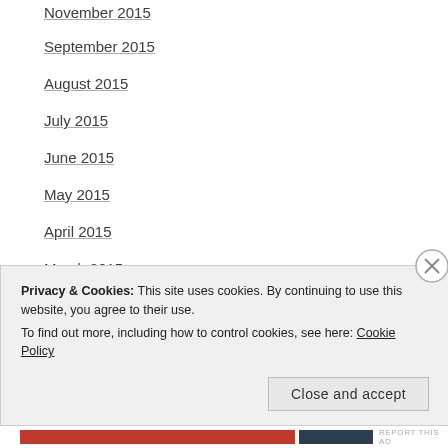November 2015
September 2015
August 2015
July 2015
June 2015
May 2015
April 2015
March 2015
January 2015
November 2014
Privacy & Cookies: This site uses cookies. By continuing to use this website, you agree to their use.
To find out more, including how to control cookies, see here: Cookie Policy
Close and accept